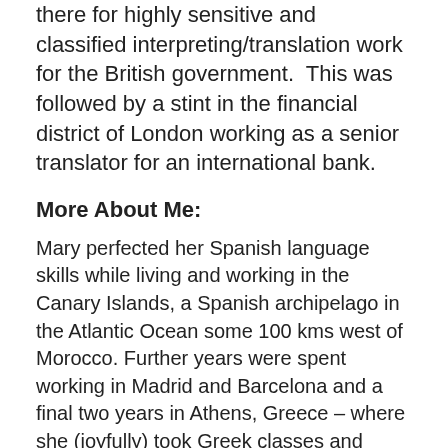there for highly sensitive and classified interpreting/translation work for the British government.  This was followed by a stint in the financial district of London working as a senior translator for an international bank.
More About Me:
Mary perfected her Spanish language skills while living and working in the Canary Islands, a Spanish archipelago in the Atlantic Ocean some 100 kms west of Morocco. Further years were spent working in Madrid and Barcelona and a final two years in Athens, Greece – where she (joyfully) took Greek classes and ultimately set up a foreign language program for kids - before moving to the US.
Prior to joining Purchase College to teach Spanish, Mary worked for Berlitz corporate language programs; Continuing Education (Spanish) for adults in Greenwich, CT and for the last 12 years has provided services as a Spanish...